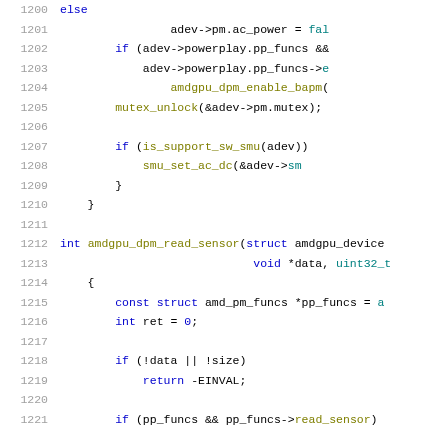Source code listing lines 1200-1221, C language kernel driver code snippet from amdgpu driver